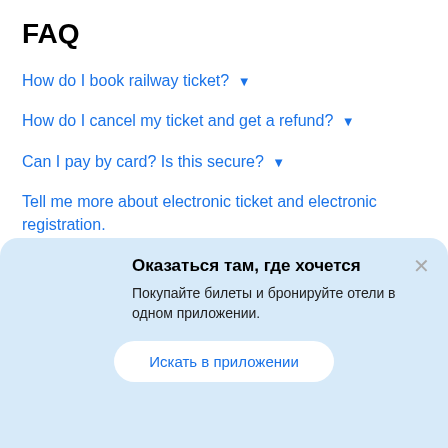FAQ
How do I book railway ticket? ▼
How do I cancel my ticket and get a refund? ▼
Can I pay by card? Is this secure? ▼
Tell me more about electronic ticket and electronic registration. ▼
Is information provided on the website up-to-date? ▼
Оказаться там, где хочется
Покупайте билеты и бронируйте отели в одном приложении.
Искать в приложении